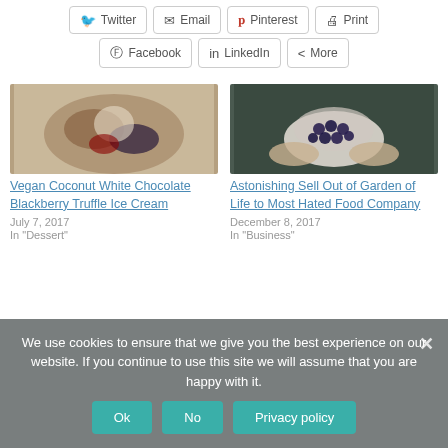[Figure (other): Social share buttons row 1: Twitter, Email, Pinterest, Print]
[Figure (other): Social share buttons row 2: Facebook, LinkedIn, More]
[Figure (photo): Food photo: vegan coconut white chocolate blackberry truffle ice cream on a plate]
Vegan Coconut White Chocolate Blackberry Truffle Ice Cream
July 7, 2017
In "Dessert"
[Figure (photo): Photo: hands holding blueberries in a cloth]
Astonishing Sell Out of Garden of Life to Most Hated Food Company
December 8, 2017
In "Business"
We use cookies to ensure that we give you the best experience on our website. If you continue to use this site we will assume that you are happy with it.